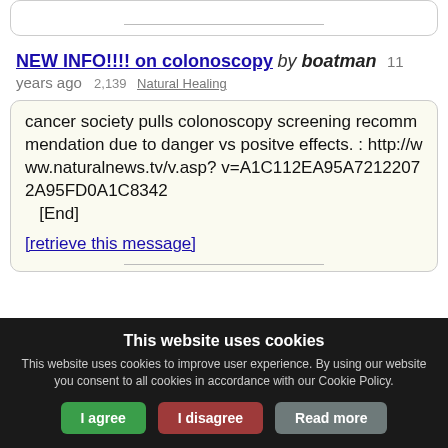NEW INFO!!!! on colonoscopy by boatman  11 years ago  2,139  Natural Healing
cancer society pulls colonoscopy screening recommmendation due to danger vs positve effects. : http://www.naturalnews.tv/v.asp?v=A1C112EA95A72122072A95FD0A1C8342
   [End]
[retrieve this message]
This website uses cookies
This website uses cookies to improve user experience. By using our website you consent to all cookies in accordance with our Cookie Policy.
I agree  I disagree  Read more